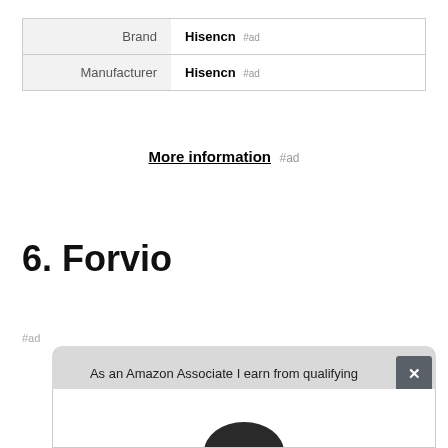|  |  |
| --- | --- |
| Brand | Hisencn #ad |
| Manufacturer | Hisencn #ad |
More information #ad
6. Forvio
#ad
As an Amazon Associate I earn from qualifying purchases. This website uses the only necessary cookies to ensure you get the best experience on our website. More information